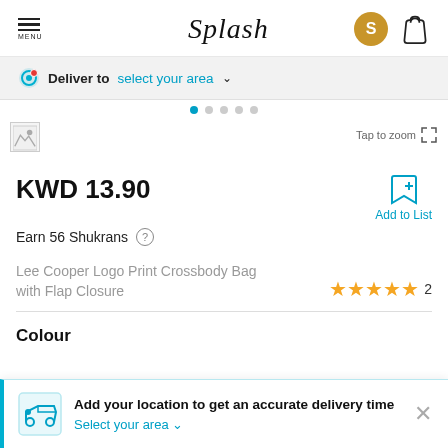Splash
Deliver to select your area
[Figure (screenshot): Product image area with broken image icon and Tap to zoom button]
KWD 13.90
Add to List
Earn 56 Shukrans
Lee Cooper Logo Print Crossbody Bag with Flap Closure
★★★★★ 2
Colour
Add your location to get an accurate delivery time
Select your area